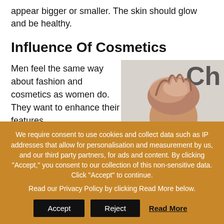appear bigger or smaller. The skin should glow and be healthy.
Influence Of Cosmetics
Men feel the same way about fashion and cosmetics as women do. They want to enhance their features
[Figure (photo): Close-up photo of a young man with styled pinkish-brown hair against a light background with partial text visible.]
We require consent to use cookies and collect data such as IP addresses that allow for personalisation and measurement by us, and our third party partners, for ads and content. By clicking "Accept," you consent to our collection of this non-sensitive data. Click "Accept" to continue.
Read our Privacy Policy by clicking Read More below.